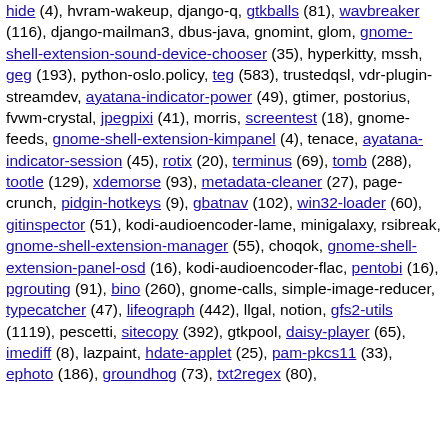hide (4), hvram-wakeup, django-q, gtkballs (81), wavbreaker (116), django-mailman3, dbus-java, gnomint, glom, gnome-shell-extension-sound-device-chooser (35), hyperkitty, mssh, geg (193), python-oslo.policy, teg (583), trustedqsl, vdr-plugin-streamdev, ayatana-indicator-power (49), gtimer, postorius, fvwm-crystal, jpegpixi (41), morris, screentest (18), gnome-feeds, gnome-shell-extension-kimpanel (4), tenace, ayatana-indicator-session (45), rotix (20), terminus (69), tomb (288), tootle (129), xdemorse (93), metadata-cleaner (27), page-crunch, pidgin-hotkeys (9), gbatnav (102), win32-loader (60), gitinspector (51), kodi-audioencoder-lame, minigalaxy, rsibreak, gnome-shell-extension-manager (55), choqok, gnome-shell-extension-panel-osd (16), kodi-audioencoder-flac, pentobi (16), pgrouting (91), bino (260), gnome-calls, simple-image-reducer, typecatcher (47), lifeograph (442), llgal, notion, gfs2-utils (1119), pescetti, sitecopy (392), gtkpool, daisy-player (65), imediff (8), lazpaint, hdate-applet (25), pam-pkcs11 (33), ephoto (186), groundhog (73), txt2regex (80),